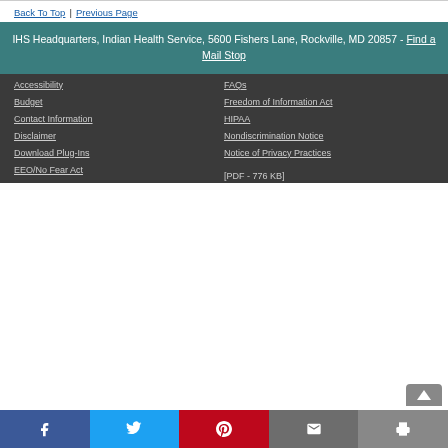Back To Top | Previous Page
IHS Headquarters, Indian Health Service, 5600 Fishers Lane, Rockville, MD 20857 - Find a Mail Stop
Accessibility
FAQs
Budget
Freedom of Information Act
Contact Information
HIPAA
Disclaimer
Nondiscrimination Notice
Download Plug-Ins
Notice of Privacy Practices [PDF - 776 KB]
EEO/No Fear Act
Social share bar: Facebook, Twitter, Pinterest, Email, Print